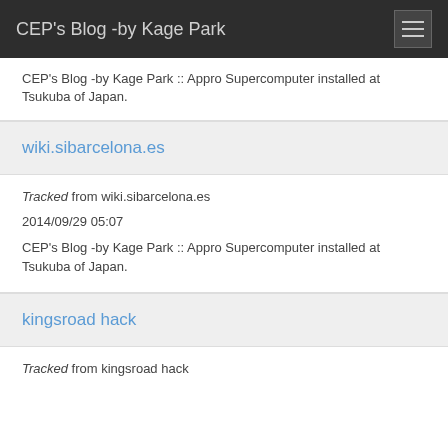CEP's Blog -by Kage Park
CEP's Blog -by Kage Park :: Appro Supercomputer installed at Tsukuba of Japan.
wiki.sibarcelona.es
Tracked from wiki.sibarcelona.es
2014/09/29 05:07
CEP's Blog -by Kage Park :: Appro Supercomputer installed at Tsukuba of Japan.
kingsroad hack
Tracked from kingsroad hack